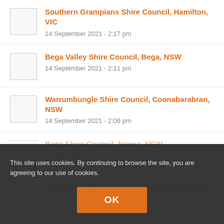Southern Grampians Shire Council, Hamilton, VIC
14 September 2021 - 2:17 pm
Bega Valley Shire Council, Bega, NSW
14 September 2021 - 2:11 pm
Warrumbungle Shire Council, Coonabarabran, NSW
14 September 2021 - 2:06 pm
Bega Shire Council, Nowra, NSW
14 September 2021 - 2:00
Bundaberg Regional Council, Bundaberg, QLD
14 September 2021 - ...am
This site uses cookies. By continuing to browse the site, you are agreeing to our use of cookies.